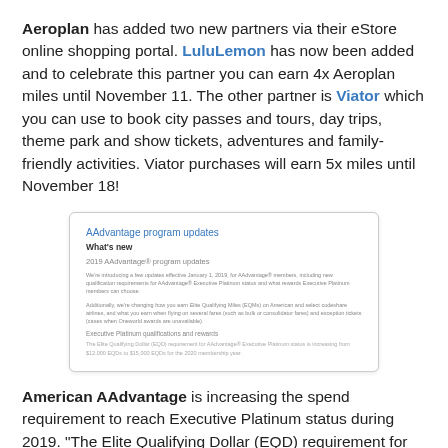Aeroplan has added two new partners via their eStore online shopping portal. LuluLemon has now been added and to celebrate this partner you can earn 4x Aeroplan miles until November 11. The other partner is Viator which you can use to book city passes and tours, day trips, theme park and show tickets, adventures and family-friendly activities. Viator purchases will earn 5x miles until November 18!
[Figure (screenshot): Screenshot of AAdvantage program updates page showing 'What's new', '2019 AAdvantage® program updates' section with body text about Elite Qualifying Miles and Executive Platinum qualifications and rewards.]
American AAdvantage is increasing the spend requirement to reach Executive Platinum status during 2019. "The Elite Qualifying Dollar (EQD) requirement for AAdvantage® Executive Platinum status is increasing from $12,000 EQDs to $15,000 EQDs for the 2020 membership year." There are also changes to mileage earning on American's joint venture partner airlines and a reduction in elite qualifying mileage